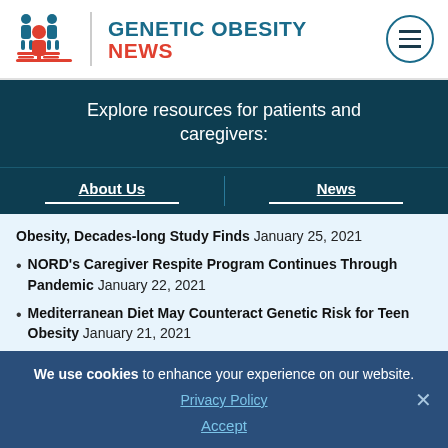GENETIC OBESITY NEWS
Explore resources for patients and caregivers:
About Us | News
Obesity, Decades-long Study Finds January 25, 2021
NORD's Caregiver Respite Program Continues Through Pandemic January 22, 2021
Mediterranean Diet May Counteract Genetic Risk for Teen Obesity January 21, 2021
We use cookies to enhance your experience on our website. Privacy Policy Accept